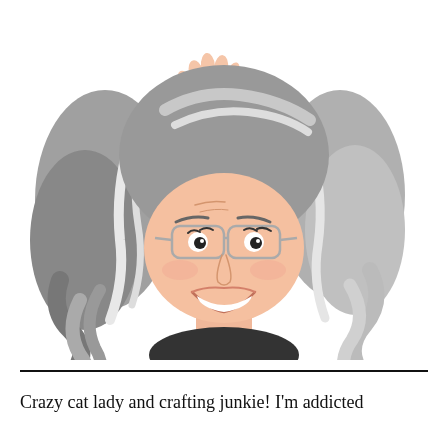[Figure (illustration): Cartoon/avatar illustration of a smiling woman with long wavy gray-and-white hair, wearing glasses and a dark turtleneck, with one hand raised near her head in a waving gesture.]
Crazy cat lady and crafting junkie! I'm addicted